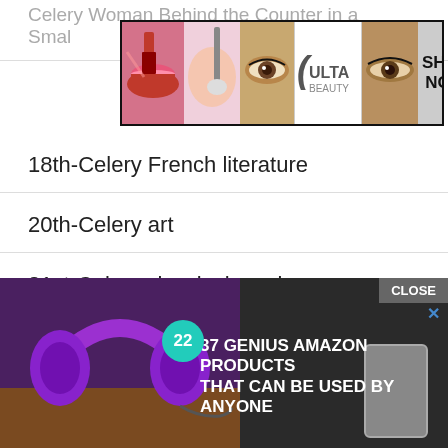Celery Woman Behind the Counter in a Smal…
[Figure (infographic): ULTA Beauty advertisement banner with makeup images and SHOP NOW button]
18th-Celery French literature
20th-Celery art
21st-Celery classical music
24th Celery
2nd Celery
8th Celery BC
[Figure (infographic): Advertisement: 37 Genius Amazon Products That Can Be Used By Anyone, showing purple headphones with badge '22', CLOSE button]
Buick…
Twen…